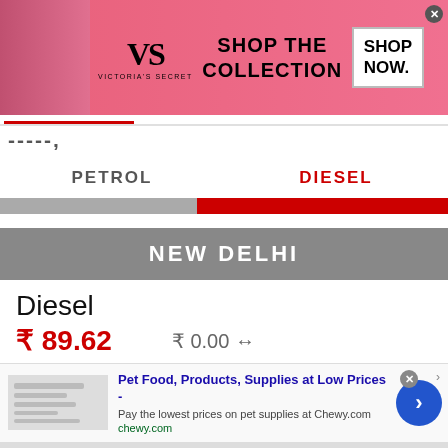[Figure (other): Victoria's Secret advertisement banner with pink background, model, VS logo, 'SHOP THE COLLECTION' text, and 'SHOP NOW' button]
-----,
PETROL
DIESEL
NEW DELHI
Diesel
₹ 89.62
₹ 0.00 ↔
[Figure (other): Chewy.com pet food advertisement banner with product image, headline 'Pet Food, Products, Supplies at Low Prices -', description text, URL, and blue arrow button]